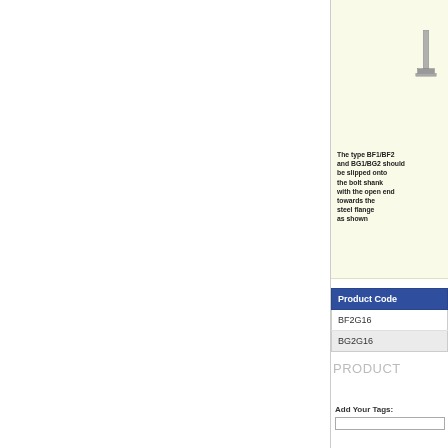[Figure (illustration): Bolt/washer illustration on cream background showing a bolt shank with open end towards steel flange]
The type BF1/BF2 and BG1/BG2 should be slipped onto the bolt shank with the open end towards the steel flange as shown
| Product Code |
| --- |
| BF2G16 |
| BG2G16 |
PRODUCT
Add Your Tags: